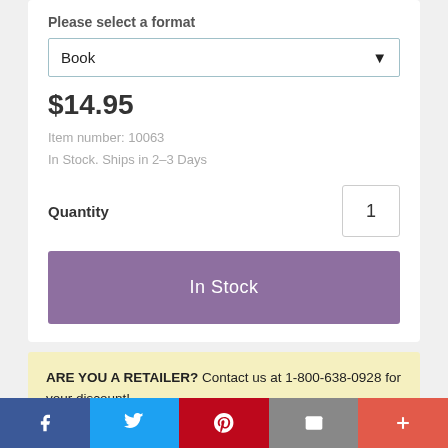Please select a format
Book
$14.95
Item number: 10063
In Stock. Ships in 2–3 Days
Quantity  1
In Stock
ARE YOU A RETAILER? Contact us at 1-800-638-0928 for your discount!